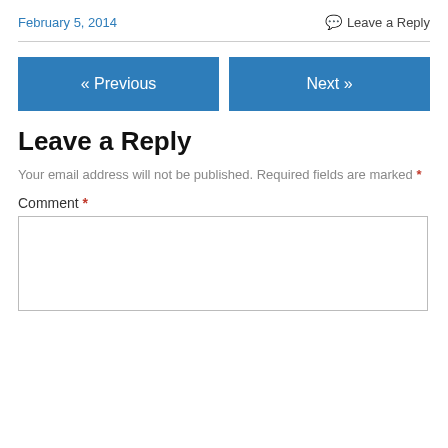February 5, 2014
Leave a Reply
« Previous
Next »
Leave a Reply
Your email address will not be published. Required fields are marked *
Comment *